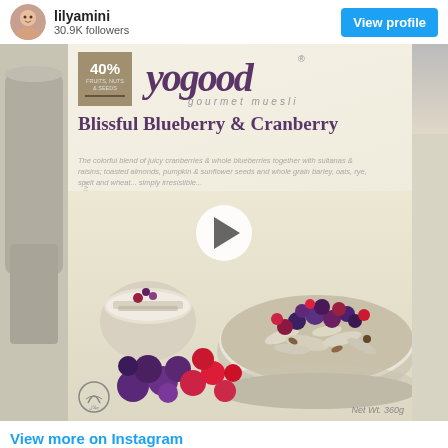lilyamini
30.9K followers
[Figure (photo): Instagram post showing a package of Yogood Gourmet Muesli Blissful Blueberry & Cranberry (Net Wt. 360g) with a bowl of muesli topped with blueberries and cranberries, and a play button overlay indicating a video post. 40% fruits, nuts & seeds badge visible. Halal certified.]
View more on Instagram